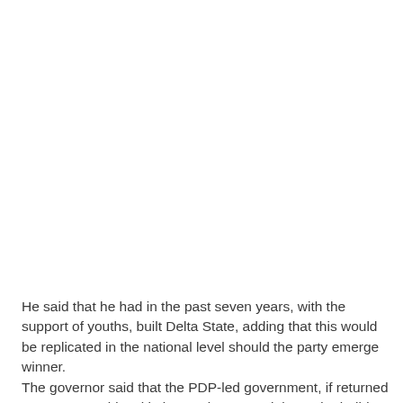He said that he had in the past seven years, with the support of youths, built Delta State, adding that this would be replicated in the national level should the party emerge winner. The governor said that the PDP-led government, if returned to power, would tackle insecurity, create jobs and rebuild the